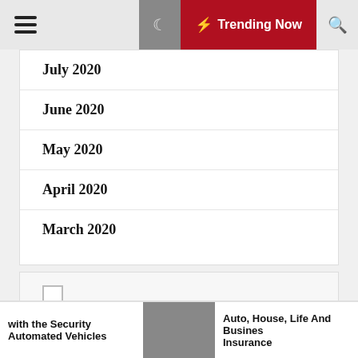Trending Now
July 2020
June 2020
May 2020
April 2020
March 2020
Categories
with the Security Automated Vehicles
Auto, House, Life And Busines Insurance